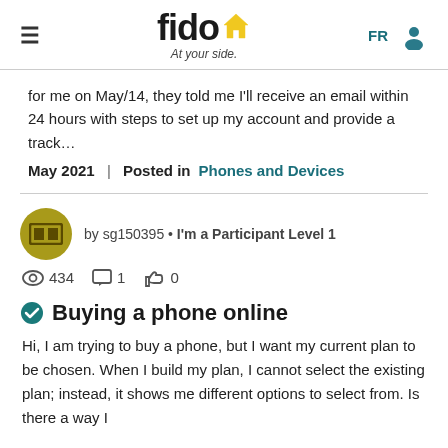fido At your side. FR [user icon]
for me on May/14, they told me I'll receive an email within 24 hours with steps to set up my account and provide a track…
May 2021  |  Posted in Phones and Devices
by sg150395 • I'm a Participant Level 1
434  1  0
Buying a phone online
Hi, I am trying to buy a phone, but I want my current plan to be chosen. When I build my plan, I cannot select the existing plan; instead, it shows me different options to select from. Is there a way I